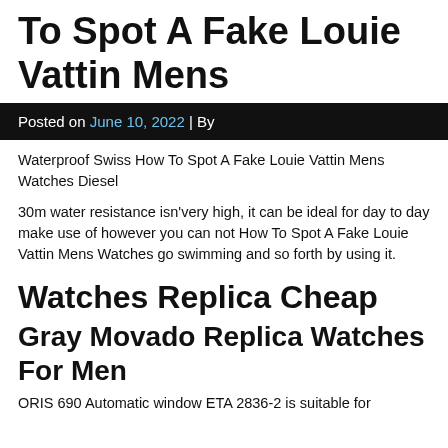To Spot A Fake Louie Vattin Mens
Posted on June 10, 2022 | By
Waterproof Swiss How To Spot A Fake Louie Vattin Mens Watches Diesel
30m water resistance isn’very high, it can be ideal for day to day make use of however you can not How To Spot A Fake Louie Vattin Mens Watches go swimming and so forth by using it.
Watches Replica Cheap
Gray Movado Replica Watches For Men
ORIS 690 Automatic window ETA 2836-2 is suitable for